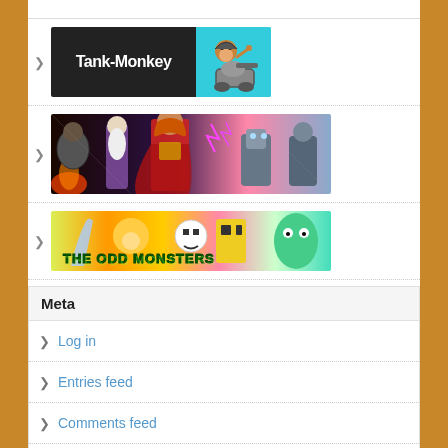[Figure (screenshot): Tank-Monkey comic banner with dark left half showing white text 'Tank-Monkey' and cyan right half showing a cartoon monkey with a tank cannon]
[Figure (illustration): Fantasy comics group banner showing a wizard, a woman in red armor, and robot/armor characters in action poses]
[Figure (illustration): The Odd Monsters banner with colorful cartoon monsters and green graffiti-style logo text 'The Odd Monsters']
Meta
Log in
Entries feed
Comments feed
WordPress.org